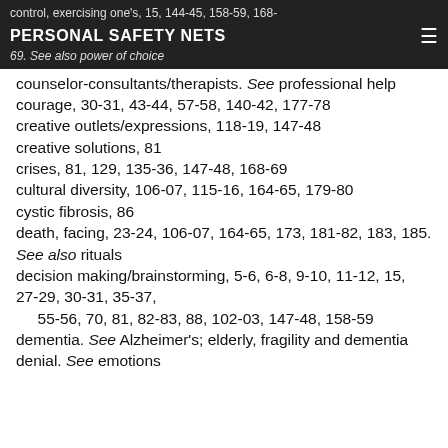control, exercising one's, 15, 144-45, 158-59, 168-69. See also power of choice
PERSONAL SAFETY NETS
counselor-consultants/therapists. See professional help
courage, 30-31, 43-44, 57-58, 140-42, 177-78
creative outlets/expressions, 118-19, 147-48
creative solutions, 81
crises, 81, 129, 135-36, 147-48, 168-69
cultural diversity, 106-07, 115-16, 164-65, 179-80
cystic fibrosis, 86
death, facing, 23-24, 106-07, 164-65, 173, 181-82, 183, 185. See also rituals
decision making/brainstorming, 5-6, 6-8, 9-10, 11-12, 15, 27-29, 30-31, 35-37,
    55-56, 70, 81, 82-83, 88, 102-03, 147-48, 158-59
dementia. See Alzheimer's; elderly, fragility and dementia
denial. See emotions